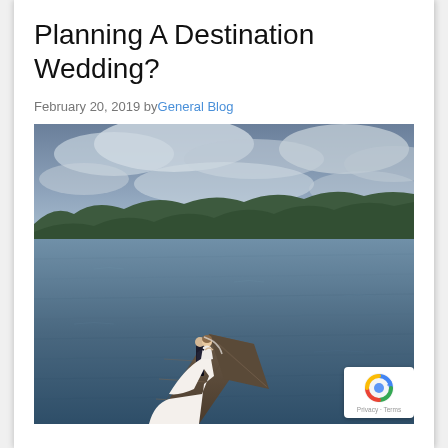Planning A Destination Wedding?
February 20, 2019 by General Blog
[Figure (photo): A wedding couple standing on a wooden dock over a large lake, with a treeline and overcast sky in the background. The bride wears a white gown with a long train; the groom is in a dark suit. The scene is photographed from above.]